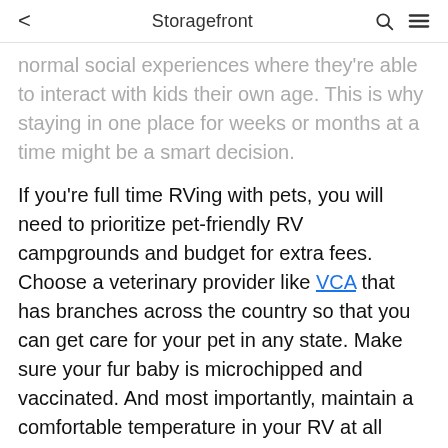< Storagefront
normal social experiences where they're able to interact with kids their own age. This is why staying in one place for weeks or months at a time might be a smart decision.
If you're full time RVing with pets, you will need to prioritize pet-friendly RV campgrounds and budget for extra fees. Choose a veterinary provider like VCA that has branches across the country so that you can get care for your pet in any state. Make sure your fur baby is microchipped and vaccinated. And most importantly, maintain a comfortable temperature in your RV at all times.
Internet